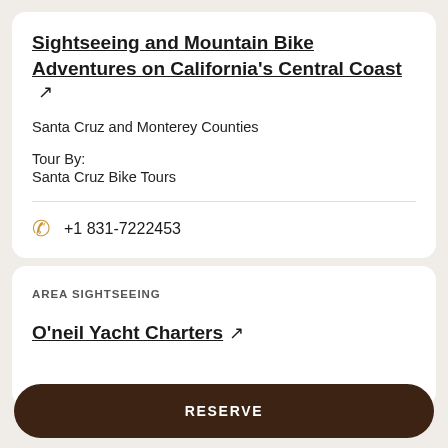Sightseeing and Mountain Bike Adventures on California's Central Coast ↗
Santa Cruz and Monterey Counties
Tour By:
Santa Cruz Bike Tours
+1 831-7222453
AREA SIGHTSEEING
O'neil Yacht Charters ↗
RESERVE